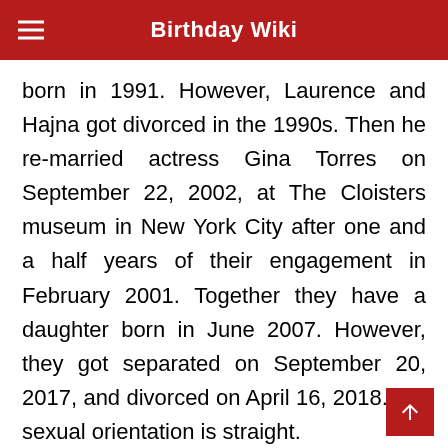Birthday Wiki
born in 1991. However, Laurence and Hajna got divorced in the 1990s. Then he re-married actress Gina Torres on September 22, 2002, at The Cloisters museum in New York City after one and a half years of their engagement in February 2001. Together they have a daughter born in June 2007. However, they got separated on September 20, 2017, and divorced on April 16, 2018. His sexual orientation is straight.
Body Measurement of